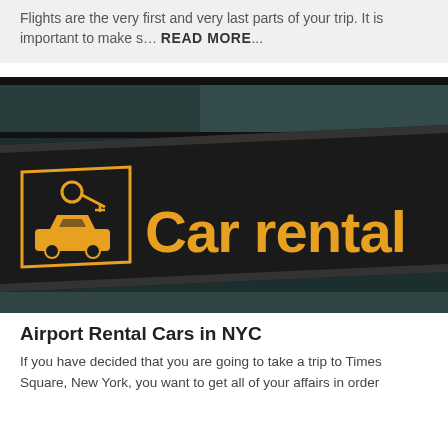Flights are the very first and very last parts of your trip.  It is important to make s…  READ MORE...
[Figure (photo): Airport car rental directional sign with orange text and car/key icon on dark background]
Airport Rental Cars in NYC
If you have decided that you are going to take a trip to Times Square, New York, you want to get all of your affairs in order